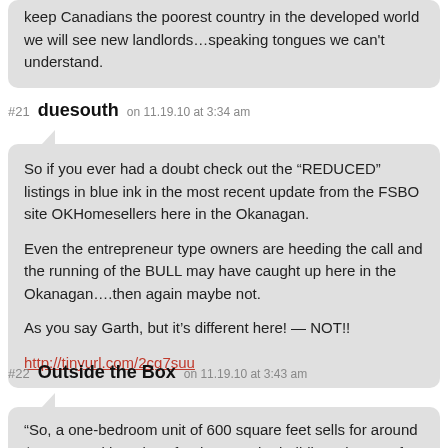keep Canadians the poorest country in the developed world we will see new landlords…speaking tongues we can't understand.
#21 duesouth on 11.19.10 at 3:34 am
So if you ever had a doubt check out the "REDUCED" listings in blue ink in the most recent update from the FSBO site OKHomesellers here in the Okanagan.

Even the entrepreneur type owners are heeding the call and the running of the BULL may have caught up here in the Okanagan....then again maybe not.

As you say Garth, but it's different here! — NOT!!

http://tinyurl.com/2cg7suu
#22 Outside the Box on 11.19.10 at 3:43 am
“So, a one-bedroom unit of 600 square feet sells for around $275,000 with a place for the car. The building's in one of the slummier parts of the